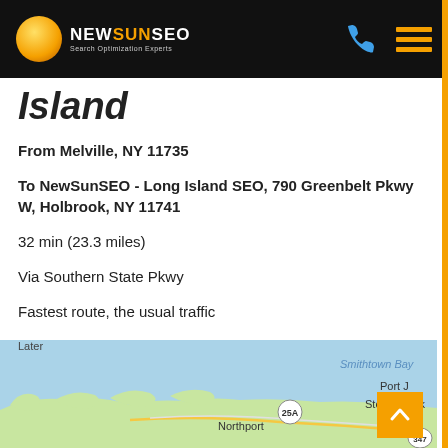NewSunSEO
Island
From Melville, NY 11735
To NewSunSEO - Long Island SEO, 790 Greenbelt Pkwy W, Holbrook, NY 11741
32 min (23.3 miles)
Via Southern State Pkwy
Fastest route, the usual traffic
Melville, NY
https://goo.gl/maps/QPx3zSi68T77n8Fh9
[Figure (map): Google Maps screenshot showing Long Island NY coastline with Smithtown Bay, Stony Brook, Northport, and Port Jefferson area labeled]